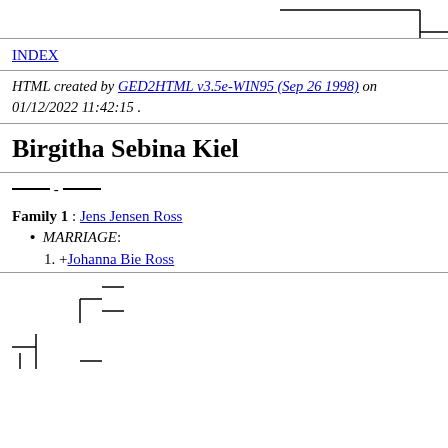[Figure (other): Genealogy tree diagram fragment at top of page — partial horizontal and vertical lines forming a tree structure]
INDEX
HTML created by GED2HTML v3.5e-WIN95 (Sep 26 1998) on 01/12/2022 11:42:15 .
Birgitha Sebina Kiel
____ - ____
Family 1 : Jens Jensen Ross
MARRIAGE:
+Johanna Bie Ross
[Figure (other): Genealogy tree diagram fragment at bottom of page — partial horizontal and vertical lines forming a tree structure]